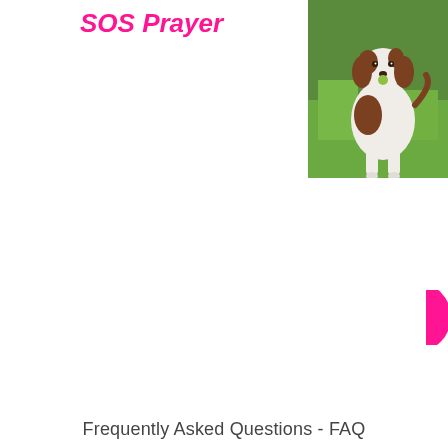SOS Prayer
[Figure (photo): A brown and white springer spaniel dog standing on green grass, looking at the camera.]
[Figure (other): Partial pink circle element on right edge of page.]
Frequently Asked Questions - FAQ